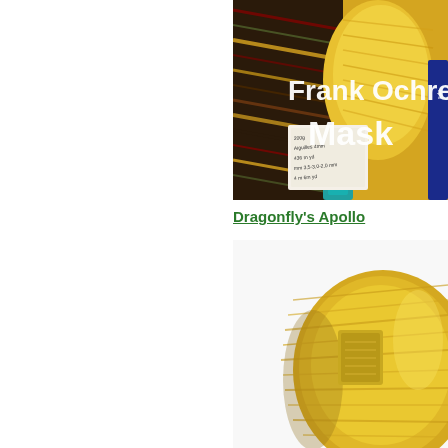[Figure (photo): Photo of yarn skeins with text overlay reading 'Frank Ochre Mask' in white letters, showing colorful yarns with a label visible]
Dragonfly's Apollo
[Figure (photo): Close-up photo of a golden yellow yarn skein with a label, on a white background]